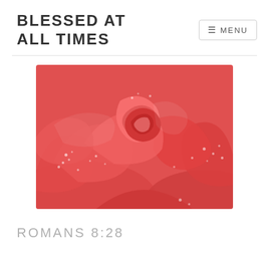BLESSED AT ALL TIMES
≡ MENU
[Figure (photo): Close-up macro photograph of a coral/salmon-colored rose with water droplets on the petals]
ROMANS 8:28